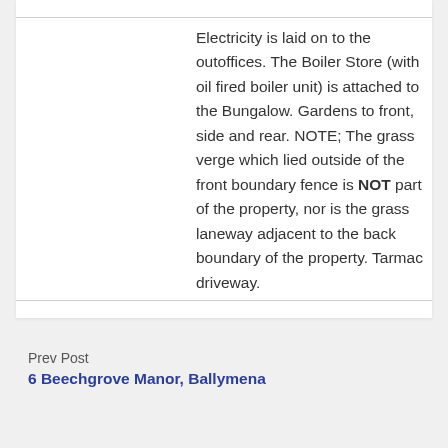Electricity is laid on to the outoffices. The Boiler Store (with oil fired boiler unit) is attached to the Bungalow. Gardens to front, side and rear. NOTE; The grass verge which lied outside of the front boundary fence is NOT part of the property, nor is the grass laneway adjacent to the back boundary of the property. Tarmac driveway.
Prev Post
6 Beechgrove Manor, Ballymena